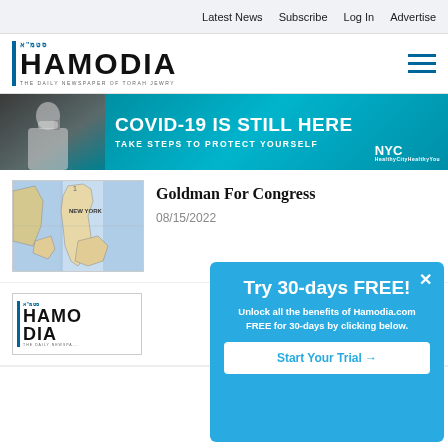Latest News   Subscribe   Log In   Advertise
[Figure (logo): Hamodia logo - The Daily Newspaper of Torah Jewry]
[Figure (photo): NYC COVID-19 public health banner ad: person wearing mask on phone. Text: COVID-19 IS STILL HERE / TAKE STEPS TO PROTECT YOURSELF / NYC logo]
Goldman For Congress
08/15/2022
[Figure (map): Map showing New York metropolitan area congressional district]
[Figure (logo): Partial Hamodia logo visible behind popup]
Try 30-days FREE!
Unlock all the benefits of Hamodia.com FREE for 30-days by clicking below.
Start Your Trial →